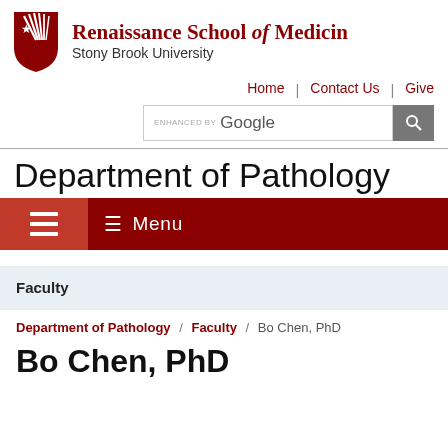[Figure (logo): Renaissance School of Medicine at Stony Brook University logo with red shield and university name]
Home | Contact Us | Give
[Figure (screenshot): Google enhanced search bar with magnifying glass button]
Department of Pathology
[Figure (screenshot): Navigation bar with home icon and Menu button on dark red background]
Faculty
Department of Pathology / Faculty / Bo Chen, PhD
Bo Chen, PhD